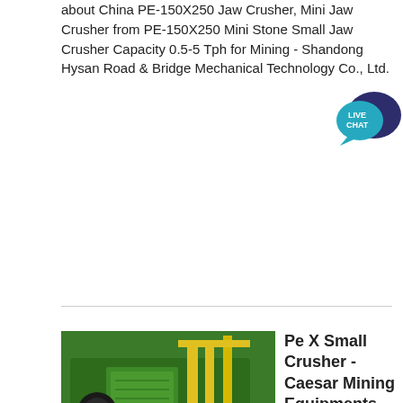about China PE-150X250 Jaw Crusher, Mini Jaw Crusher from PE-150X250 Mini Stone Small Jaw Crusher Capacity 0.5-5 Tph for Mining - Shandong Hysan Road & Bridge Mechanical Technology Co., Ltd.
[Figure (illustration): Live Chat speech bubble icon in teal/dark blue colors]
Get Price
[Figure (photo): McCloskey green industrial jaw crusher machine with ACRUSHER Mining Equipment logo overlay]
Pe X Small Crusher - Caesar Mining Equipments
Pe X Small Crusher. What is PE 150 x 250 small laboratory jaw crusher price Comparing with the PE 250 x 400 jaw crusher and PE 400 x 600 jaw crusher PE 150 x 250 small